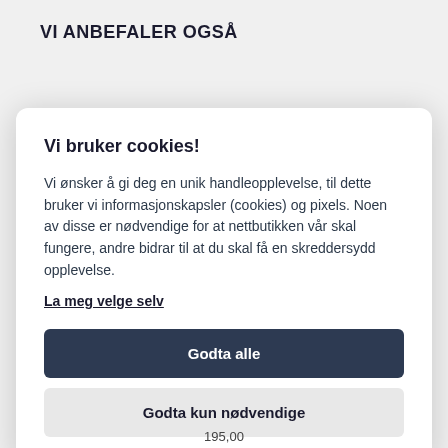VI ANBEFALER OGSÅ
Vi bruker cookies!
Vi ønsker å gi deg en unik handleopplevelse, til dette bruker vi informasjonskapsler (cookies) og pixels. Noen av disse er nødvendige for at nettbutikken vår skal fungere, andre bidrar til at du skal få en skreddersydd opplevelse.
La meg velge selv
Godta alle
Godta kun nødvendige
195,00